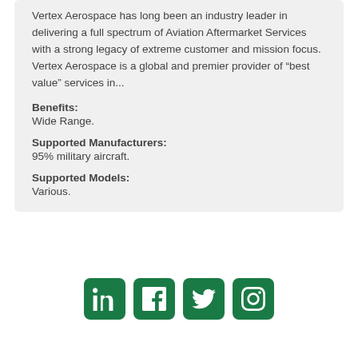Vertex Aerospace has long been an industry leader in delivering a full spectrum of Aviation Aftermarket Services with a strong legacy of extreme customer and mission focus. Vertex Aerospace is a global and premier provider of “best value” services in...
Benefits:
Wide Range.
Supported Manufacturers:
95% military aircraft.
Supported Models:
Various.
[Figure (infographic): Four social media icons (LinkedIn, Facebook, Twitter, Instagram) displayed as green rounded square buttons with white icons.]